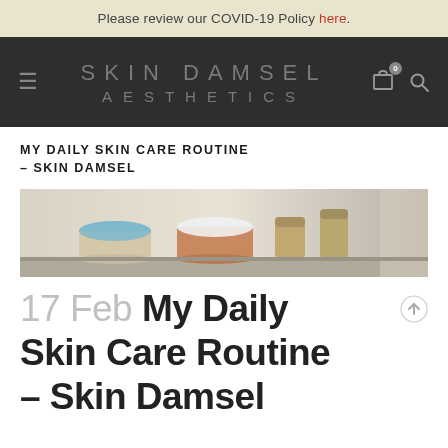Please review our COVID-19 Policy here.
[Figure (logo): Skin Damsel Aesthetics navigation bar with hamburger menu, logo text, cart icon with badge 0, and search icon on dark background]
MY DAILY SKIN CARE ROUTINE – SKIN DAMSEL
[Figure (photo): Close-up of skincare product jars and containers on a shelf, including a blue-lidded cream jar, a dark round jar, and brown cylindrical bottles]
17 Feb My Daily Skin Care Routine – Skin Damsel